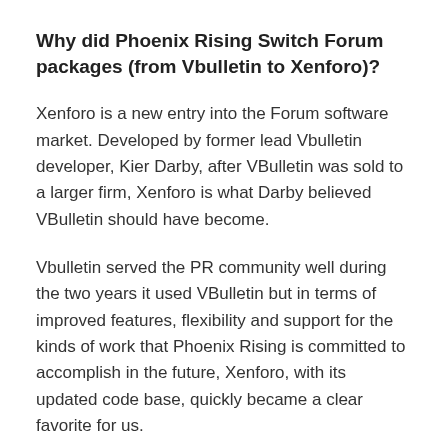Why did Phoenix Rising Switch Forum packages (from Vbulletin to Xenforo)?
Xenforo is a new entry into the Forum software market. Developed by former lead Vbulletin developer, Kier Darby, after VBulletin was sold to a larger firm, Xenforo is what Darby believed VBulletin should have become.
Vbulletin served the PR community well during the two years it used VBulletin but in terms of improved features, flexibility and support for the kinds of work that Phoenix Rising is committed to accomplish in the future, Xenforo, with its updated code base, quickly became a clear favorite for us.